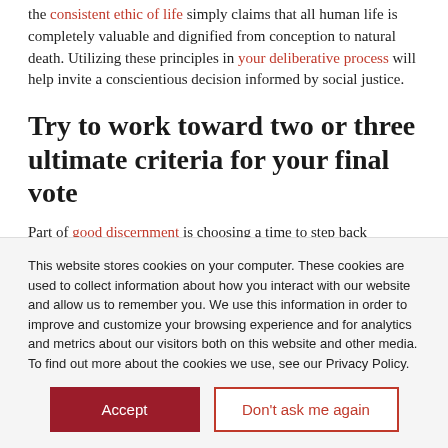the consistent ethic of life simply claims that all human life is completely valuable and dignified from conception to natural death. Utilizing these principles in your deliberative process will help invite a conscientious decision informed by social justice.
Try to work toward two or three ultimate criteria for your final vote
Part of good discernment is choosing a time to step back from the conversation and...
This website stores cookies on your computer. These cookies are used to collect information about how you interact with our website and allow us to remember you. We use this information in order to improve and customize your browsing experience and for analytics and metrics about our visitors both on this website and other media. To find out more about the cookies we use, see our Privacy Policy.